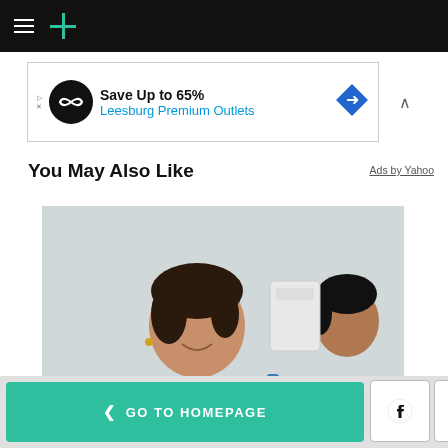HuffPost navigation bar with hamburger menu and logo
[Figure (infographic): Advertisement banner: Save Up to 65% Leesburg Premium Outlets with infinity loop logo and blue diamond arrow icon]
You May Also Like
Ads by Yahoo
[Figure (photo): A smiling woman in dark blue scrubs with yellow rubber gloves crossed arms, another woman in background in a clinical/cleaning environment]
< GO TO HOMEPAGE | Facebook icon | Twitter icon | X close button